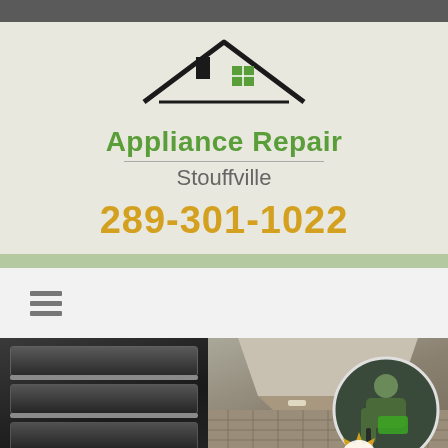[Figure (logo): Appliance Repair Stouffville logo with house/roof icon in black and green]
Appliance Repair Stouffville
289-301-1022
[Figure (photo): Hamburger menu icon (three horizontal lines)]
[Figure (photo): Composite image showing kitchen appliances: double wall oven on left, kitchen range hood and stove in center, technician/repairman in circular inset on right, with 100% satisfaction badge]